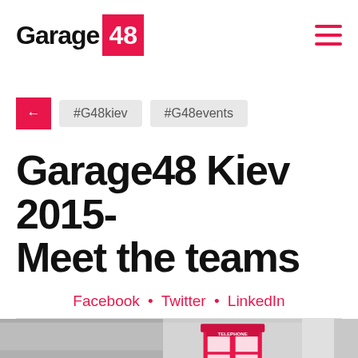Garage 48
← #G48kiev #G48events
Garage48 Kiev 2015- Meet the teams
Facebook • Twitter • LinkedIn
[Figure (photo): Three photos in a horizontal strip: left is a black and white photo of people, center shows a red telephone box with TELEPHONE label, right is a partial grey/white photo]